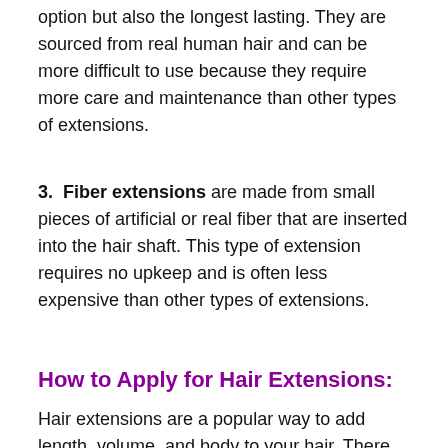option but also the longest lasting. They are sourced from real human hair and can be more difficult to use because they require more care and maintenance than other types of extensions.
3. Fiber extensions are made from small pieces of artificial or real fiber that are inserted into the hair shaft. This type of extension requires no upkeep and is often less expensive than other types of extensions.
How to Apply for Hair Extensions:
Hair extensions are a popular way to add length, volume, and body to your hair. There are many ways to apply for hair extensions, but the most common way is to use a hair extension application kit.
The following steps will show you how to apply hair extensions using a kit.